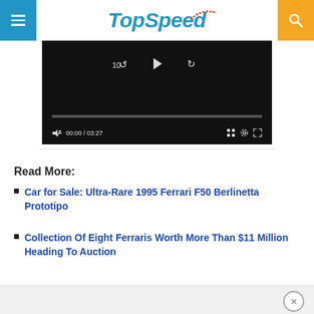TopSpeed
[Figure (screenshot): Video player with black background showing playback controls: timestamp 00:00 / 03:27, progress bar, grid, settings, and fullscreen icons]
Read More:
Car for Sale: Ultra-Rare 1995 Ferrari F50 Berlinetta Prototipo
Collection Of Eight Ferraris Worth More Than $11 Million Heading To Auction